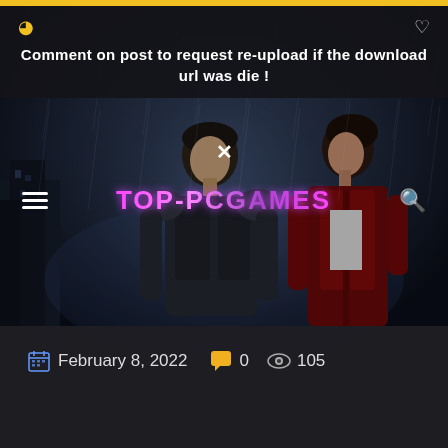Comment on post to request re-upload if the download url was die !
[Figure (screenshot): Screenshot of TOP-PCGAMES website showing two characters from Resident Evil 2 (Leon and Claire) in a rainy, dark city background. Navigation bar with hamburger menu, TOP-PCGAMES logo, and search icon overlaid on the image.]
February 8, 2022   0   105